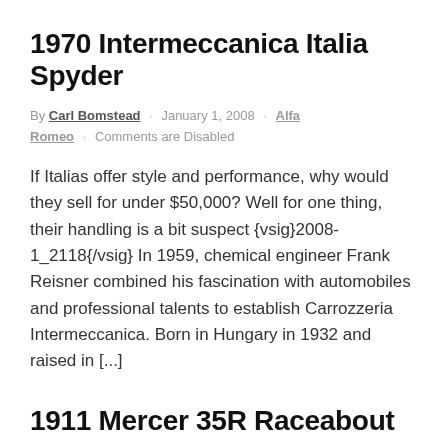1970 Intermeccanica Italia Spyder
By Carl Bomstead · January 1, 2008 · Alfa Romeo · Comments are Disabled
If Italias offer style and performance, why would they sell for under $50,000? Well for one thing, their handling is a bit suspect {vsig}2008-1_2118{/vsig} In 1959, chemical engineer Frank Reisner combined his fascination with automobiles and professional talents to establish Carrozzeria Intermeccanica. Born in Hungary in 1932 and raised in [...]
1911 Mercer 35R Raceabout
By Ken Gross · February 1, 2007 · Alfa Romeo · Comments are Disabled
Mercers remain four to five times more expensive than